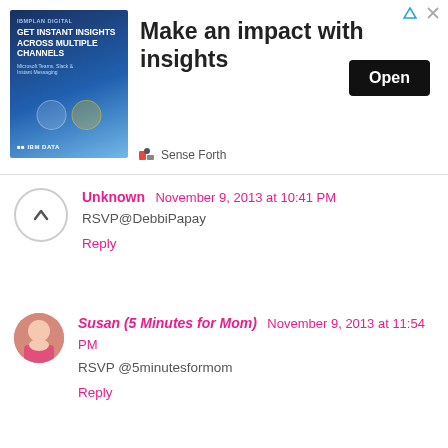[Figure (screenshot): Advertisement banner: image of person with phone, headline 'Make an impact with insights', Open button, Sense Forth label, close/arrow icons]
Unknown  November 9, 2013 at 10:41 PM
RSVP@DebbiPapay
Reply
Susan (5 Minutes for Mom)  November 9, 2013 at 11:54 PM
RSVP @5minutesformom
Reply
Unknown  November 10, 2013 at 5:39 AM
RSVP @barrettcaldwell
Reply